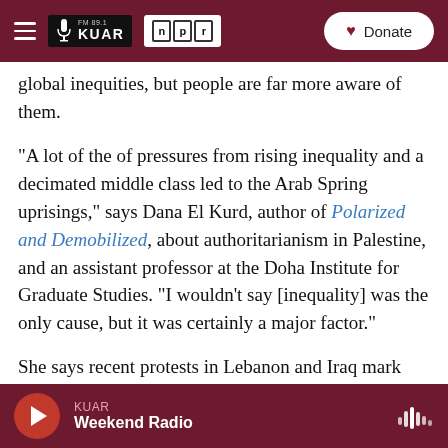FM 89.1 KUAR | NPR — Donate
global inequities, but people are far more aware of them.
"A lot of the of pressures from rising inequality and a decimated middle class led to the Arab Spring uprisings," says Dana El Kurd, author of Polarized and Demobilized, about authoritarianism in Palestine, and an assistant professor at the Doha Institute for Graduate Studies. "I wouldn't say [inequality] was the only cause, but it was certainly a major factor."
She says recent protests in Lebanon and Iraq mark
KUAR — Weekend Radio